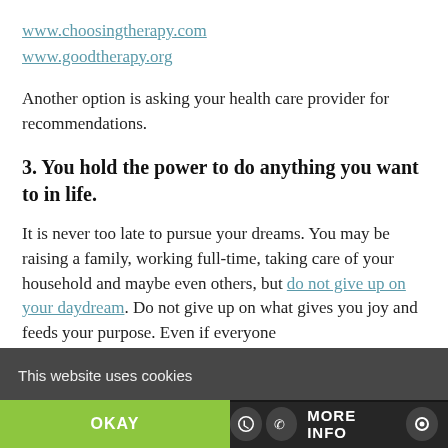www.choosingtherapy.com
www.goodtherapy.org
Another option is asking your health care provider for recommendations.
3. You hold the power to do anything you want to in life.
It is never too late to pursue your dreams. You may be raising a family, working full-time, taking care of your household and maybe even others, but do not give up on your daydream. Do not give up on what gives you joy and feeds your purpose. Even if everyone
This website uses cookies
OKAY  MORE INFO